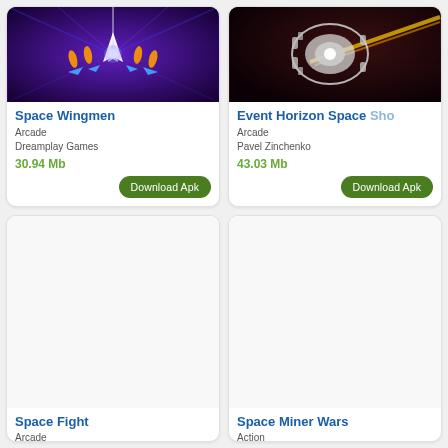[Figure (screenshot): Space Wingmen game screenshot - purple space shooter with spaceship and blue arrows]
Space Wingmen
Arcade
Dreamplay Games
30.94 Mb
[Figure (screenshot): Event Horizon Space shooter screenshot - white mechanical robot/spaceship on dark background]
Event Horizon Space Sho
Arcade
Pavel Zinchenko
43.03 Mb
[Figure (screenshot): Space Fight game - blank/loading image placeholder]
Space Fight
Arcade
Dream-Up
12.44 Mb
[Figure (screenshot): Space Miner Wars game - blank/loading image placeholder]
Space Miner Wars
Action
Venan Entertainment
80.64 Mb